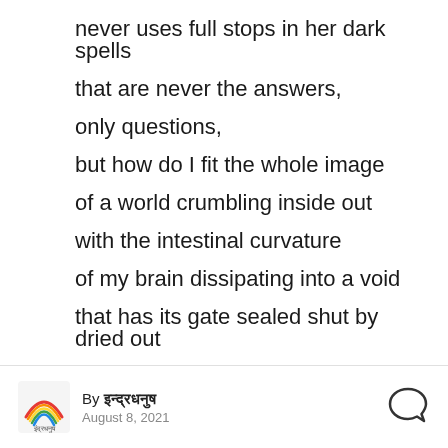never uses full stops in her dark spells
that are never the answers,
only questions,
but how do I fit the whole image
of a world crumbling inside out
with the intestinal curvature
of my brain dissipating into a void
that has its gate sealed shut by dried out
tears
in four-word statements
By इन्द्रधनुष
August 8, 2021